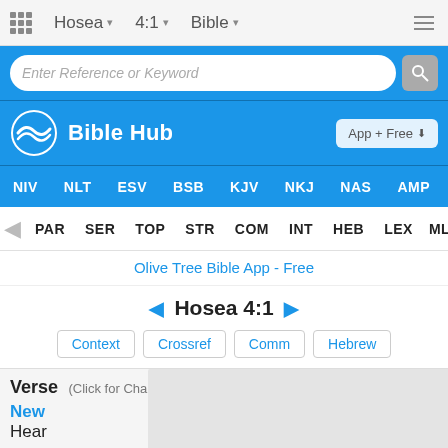Hosea | 4:1 | Bible
[Figure (screenshot): Bible Hub website screenshot showing search bar, navigation, translation tabs, tool tabs, Hosea 4:1 verse navigation, and context buttons]
Hosea 4:1
Context | Crossref | Comm | Hebrew
Verse (Click for Chapter)
New
Hear ... ause